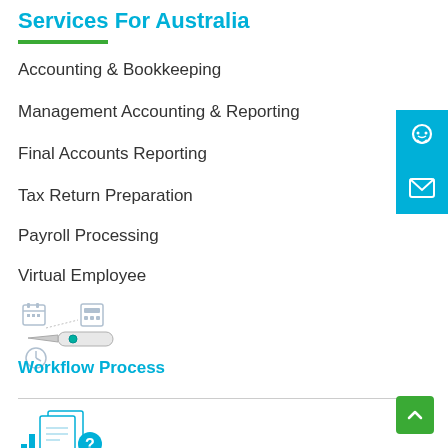Services For Australia
Accounting & Bookkeeping
Management Accounting & Reporting
Final Accounts Reporting
Tax Return Preparation
Payroll Processing
Virtual Employee
[Figure (illustration): Swiss army knife style icon representing workflow tools including calendar, calculator, and clock icons]
Workflow Process
[Figure (illustration): Partial illustration at bottom with teal/blue icons representing accounting documents and a question mark]